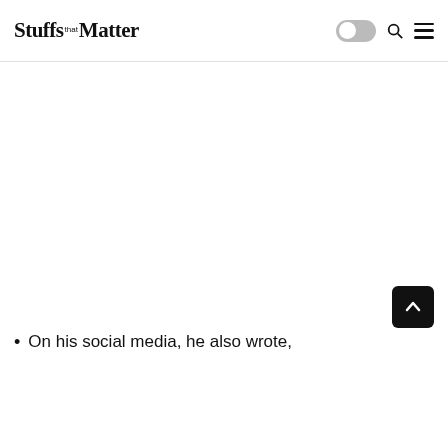Stuffs that Matter
On his social media, he also wrote,